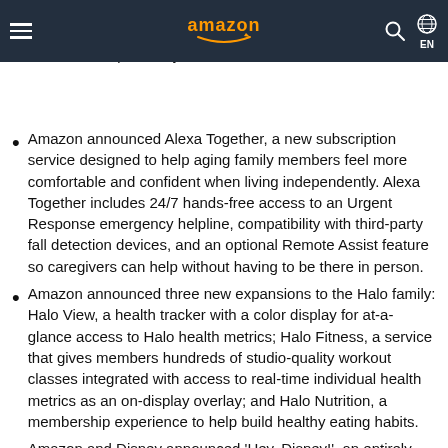Amazon navigation bar with hamburger menu, Amazon logo, search icon, globe/EN language selector
comes with one year of Amazon Kids+, bringing hundreds of hours of fun designed specifically for Glow.
Amazon announced Alexa Together, a new subscription service designed to help aging family members feel more comfortable and confident when living independently. Alexa Together includes 24/7 hands-free access to an Urgent Response emergency helpline, compatibility with third-party fall detection devices, and an optional Remote Assist feature so caregivers can help without having to be there in person.
Amazon announced three new expansions to the Halo family: Halo View, a health tracker with a color display for at-a-glance access to Halo health metrics; Halo Fitness, a service that gives members hundreds of studio-quality workout classes integrated with access to real-time individual health metrics as an on-display overlay; and Halo Nutrition, a membership experience to help build healthy eating habits.
Amazon and Disney announced 'Hey, Disney!', an entirely new kind of voice assistant that will work on supported Echo devices at home and across Disney